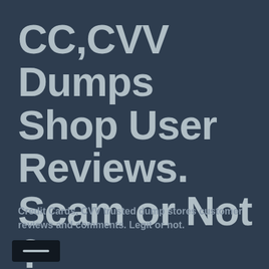CC,CVV Dumps Shop User Reviews. Scam or Not ?
Credit Cards, CVV trusted dump stores customer reviews and comments. Legit or not.